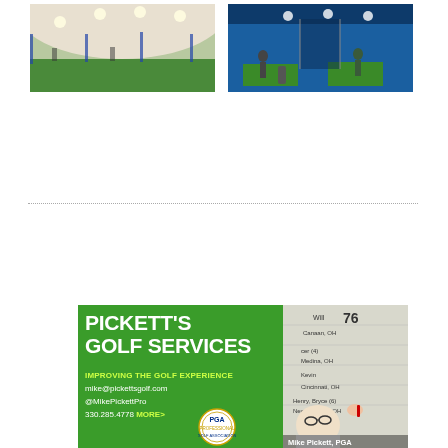[Figure (photo): Indoor golf dome facility with green turf and bright overhead lights, people visible in background]
[Figure (photo): Indoor golf practice bay with two golfers hitting on green mats, blue wall behind them]
[Figure (photo): Pickett's Golf Services advertisement - green background with white bold text 'PICKETT'S GOLF SERVICES', tagline 'IMPROVING THE GOLF EXPERIENCE', contact info, PGA logo, and photo of Mike Pickett, PGA writing on a board]